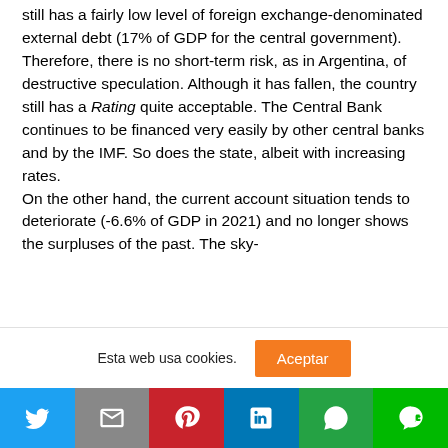still has a fairly low level of foreign exchange-denominated external debt (17% of GDP for the central government). Therefore, there is no short-term risk, as in Argentina, of destructive speculation. Although it has fallen, the country still has a Rating quite acceptable. The Central Bank continues to be financed very easily by other central banks and by the IMF. So does the state, albeit with increasing rates.
On the other hand, the current account situation tends to deteriorate (-6.6% of GDP in 2021) and no longer shows the surpluses of the past. The sky-
Esta web usa cookies.
[Figure (other): Cookie consent bar with 'Esta web usa cookies.' text and orange 'Aceptar' button]
[Figure (other): Social media share bar with Twitter, Gmail, Pinterest, LinkedIn, WhatsApp, and Line buttons]